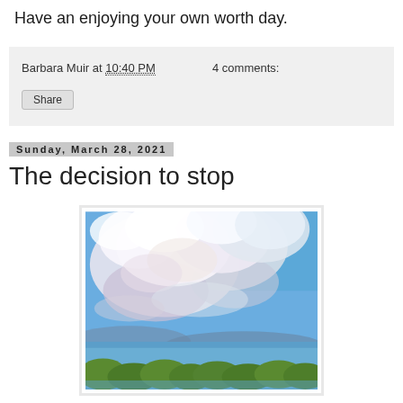Have an enjoying your own worth day.
Barbara Muir at 10:40 PM   4 comments:
Share
Sunday, March 28, 2021
The decision to stop
[Figure (illustration): A landscape painting showing large white and lavender cumulus clouds dominating the sky above a blue lake or bay with a green treeline along the bottom horizon.]